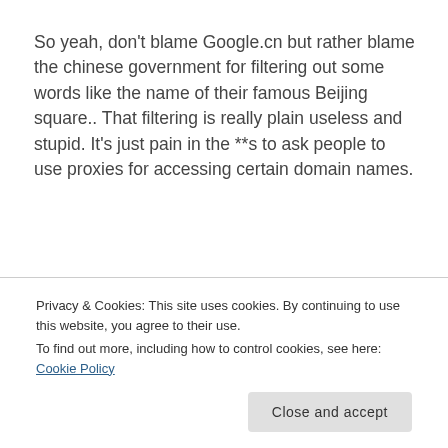So yeah, don't blame Google.cn but rather blame the chinese government for filtering out some words like the name of their famous Beijing square.. That filtering is really plain useless and stupid. It's just pain in the **s to ask people to use proxies for accessing certain domain names.
Just like you should go after the Bush administration for trying to read the current interest of the worlds users of Google and you
with the right propaganda, it's not about
Privacy & Cookies: This site uses cookies. By continuing to use this website, you agree to their use.
To find out more, including how to control cookies, see here: Cookie Policy